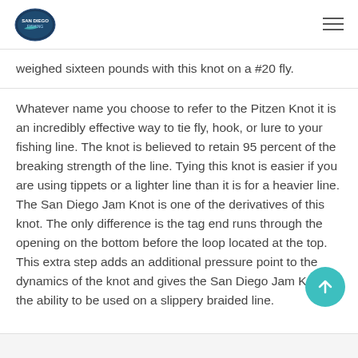[logo] [navigation hamburger menu]
weighed sixteen pounds with this knot on a #20 fly.
Whatever name you choose to refer to the Pitzen Knot it is an incredibly effective way to tie fly, hook, or lure to your fishing line. The knot is believed to retain 95 percent of the breaking strength of the line. Tying this knot is easier if you are using tippets or a lighter line than it is for a heavier line. The San Diego Jam Knot is one of the derivatives of this knot. The only difference is the tag end runs through the opening on the bottom before the loop located at the top. This extra step adds an additional pressure point to the dynamics of the knot and gives the San Diego Jam Knot the ability to be used on a slippery braided line.